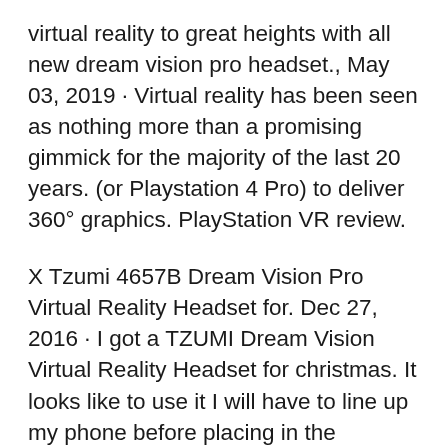virtual reality to great heights with all new dream vision pro headset., May 03, 2019 · Virtual reality has been seen as nothing more than a promising gimmick for the majority of the last 20 years. (or Playstation 4 Pro) to deliver 360° graphics. PlayStation VR review.
X Tzumi 4657B Dream Vision Pro Virtual Reality Headset for. Dec 27, 2016 · I got a TZUMI Dream Vision Virtual Reality Headset for christmas. It looks like to use it I will have to line up my phone before placing in the headset. The Samsung Gear VR doesn't seem to need this with my S7. The TZUMI device also says to get apps from dream360.com while the Samsung Gear VR seems to